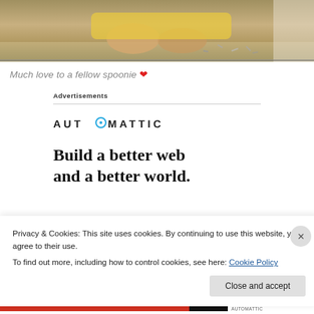[Figure (photo): Person sitting on floor in yellow clothing surrounded by scattered objects, cropped photo showing lower body]
Much love to a fellow spoonie ❤
Advertisements
[Figure (logo): Automattic logo with stylized O containing a blue circle and dot]
Build a better web and a better world.
Privacy & Cookies: This site uses cookies. By continuing to use this website, you agree to their use.
To find out more, including how to control cookies, see here: Cookie Policy
Close and accept